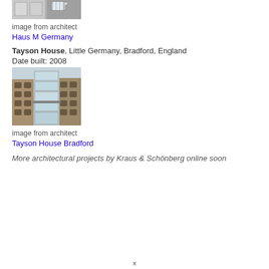[Figure (photo): Photograph of Haus M Germany building facade - white modern architecture with windows]
image from architect
Haus M Germany
Tayson House, Little Germany, Bradford, England
Date built: 2008
[Figure (photo): Photograph of Tayson House Bradford - tall glass and stone building insert between older stone buildings]
image from architect
Tayson House Bradford
More architectural projects by Kraus & Schönberg online soon
x